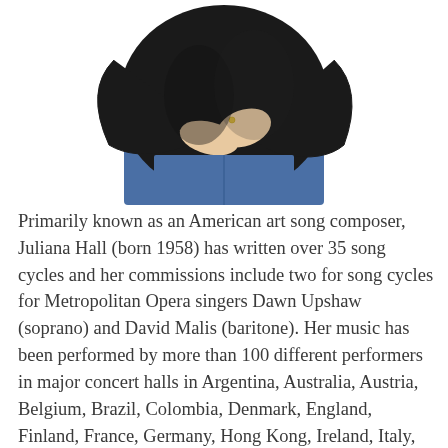[Figure (photo): A person wearing a black top with arms crossed, visible from the torso area, wearing blue jeans. The background is white.]
Primarily known as an American art song composer, Juliana Hall (born 1958) has written over 35 song cycles and her commissions include two for song cycles for Metropolitan Opera singers Dawn Upshaw (soprano) and David Malis (baritone). Her music has been performed by more than 100 different performers in major concert halls in Argentina, Australia, Austria, Belgium, Brazil, Colombia, Denmark, England, Finland, France, Germany, Hong Kong, Ireland, Italy, Japan, Netherlands, Norway, Poland, South Africa, Spain, Sweden, Switzerland,